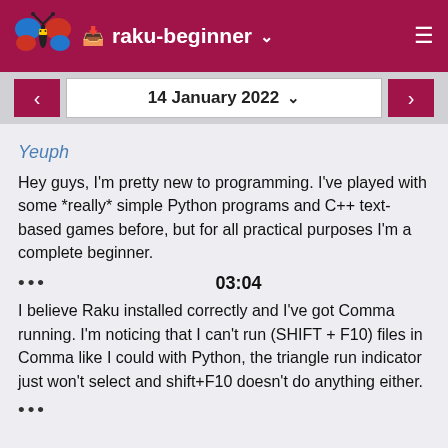raku-beginner
14 January 2022
Yeuph
Hey guys, I'm pretty new to programming. I've played with some *really* simple Python programs and C++ text-based games before, but for all practical purposes I'm a complete beginner.
03:04
I believe Raku installed correctly and I've got Comma running. I'm noticing that I can't run (SHIFT + F10) files in Comma like I could with Python, the triangle run indicator just won't select and shift+F10 doesn't do anything either.